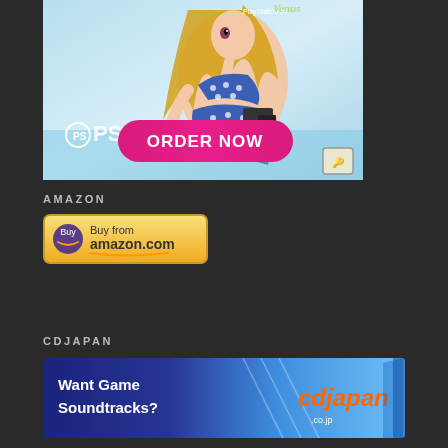[Figure (photo): PS4 game advertisement featuring an anime-style female character in a blue polka-dot bikini on a light blue background, with PlayStation 4 logo, a bright pink 'ORDER NOW' button, and a small green man badge in the bottom right corner.]
AMAZON
[Figure (logo): Buy from Amazon.com button - golden/yellow rounded rectangle button with Amazon logo icon on left and 'Buy from amazon.com' text with orange arrow underneath.]
CDJAPAN
[Figure (photo): CDJapan advertisement banner with dark-to-light blue gradient background, white text reading 'Want Game Soundtracks?' on left, and CDJapan logo in orange italic text on the right.]